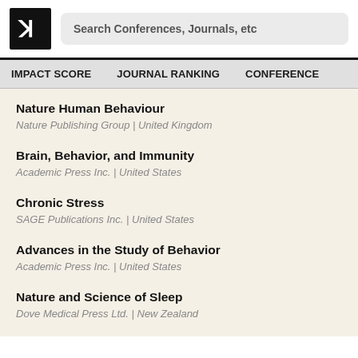[Figure (logo): Research ranking website logo: bold letter R in a box]
Search Conferences, Journals, etc
IMPACT SCORE | JOURNAL RANKING | CONFERENCE
Nature Human Behaviour
Nature Publishing Group | United Kingdom
Brain, Behavior, and Immunity
Academic Press Inc. | United States
Chronic Stress
SAGE Publications Inc. | United States
Advances in the Study of Behavior
Academic Press Inc. | United States
Nature and Science of Sleep
Dove Medical Press Ltd. | New Zealand